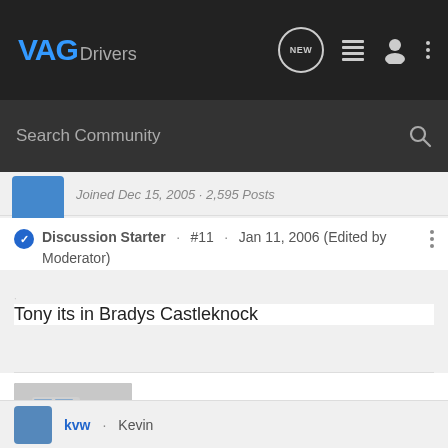VAG Drivers
Search Community
Joined Dec 15, 2005 · 2,595 Posts
Discussion Starter · #11 · Jan 11, 2006 (Edited by Moderator)
Tony its in Bradys Castleknock
[Figure (photo): Thumbnail image of a car (appears to be a BMW/VW) with a BMW badge visible]
kvw · Kevin